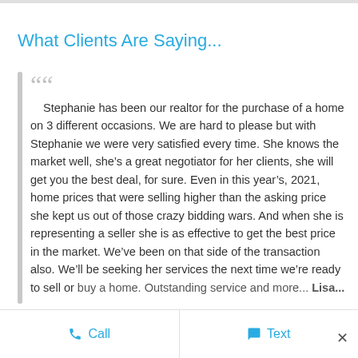What Clients Are Saying...
Stephanie has been our realtor for the purchase of a home on 3 different occasions. We are hard to please but with Stephanie we were very satisfied every time. She knows the market well, she’s a great negotiator for her clients, she will get you the best deal, for sure. Even in this year’s, 2021, home prices that were selling higher than the asking price she kept us out of those crazy bidding wars. And when she is representing a seller she is as effective to get the best price in the market. We’ve been on that side of the transaction also. We’ll be seeking her services the next time we’re ready to sell or buy a home. Outstanding service and more...
Call  Text